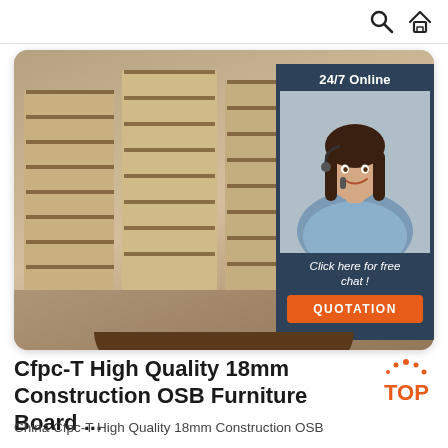Navigation bar with search and home icons
[Figure (photo): Stacked OSB/particle boards in a warehouse, with a 24/7 online chat overlay panel featuring a customer service representative wearing a headset, a 'Click here for free chat!' message, and an orange 'QUOTATION' button]
Cfpc-T High Quality 18mm Construction OSB Furniture Board ...
China Cfpc-T High Quality 18mm Construction OSB